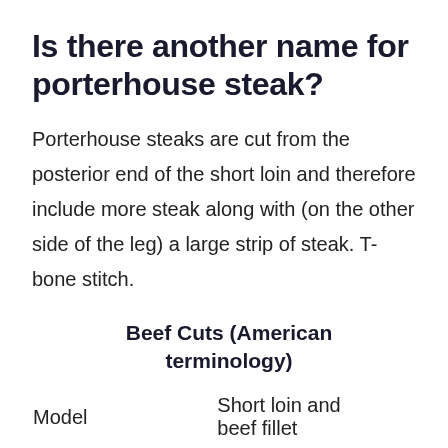Is there another name for porterhouse steak?
Porterhouse steaks are cut from the posterior end of the short loin and therefore include more steak along with (on the other side of the leg) a large strip of steak. T-bone stitch.
Beef Cuts (American terminology)
| Model | Short loin and beef fillet |
| --- | --- |